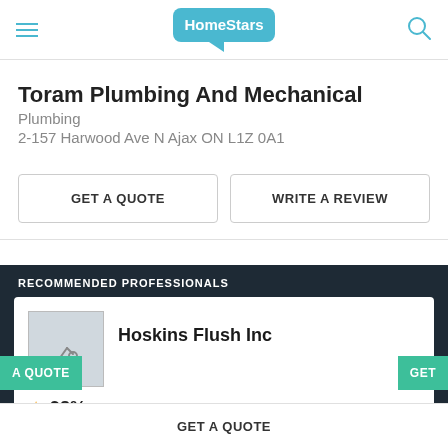[Figure (logo): HomeStars logo - teal speech bubble shape with white text 'HomeStars' inside]
Toram Plumbing And Mechanical
Plumbing
2-157 Harwood Ave N Ajax ON L1Z 0A1
GET A QUOTE
WRITE A REVIEW
RECOMMENDED PROFESSIONALS
Hoskins Flush Inc
98% (60 reviews)
GET A QUOTE